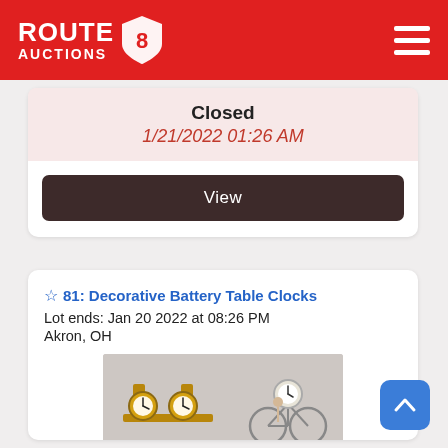ROUTE AUCTIONS
Closed
1/21/2022 01:26 AM
View
81: Decorative Battery Table Clocks
Lot ends: Jan 20 2022 at 08:26 PM
Akron, OH
[Figure (photo): Photo of decorative battery table clocks including a clock on a wooden display stand and a bicycle-shaped clock]